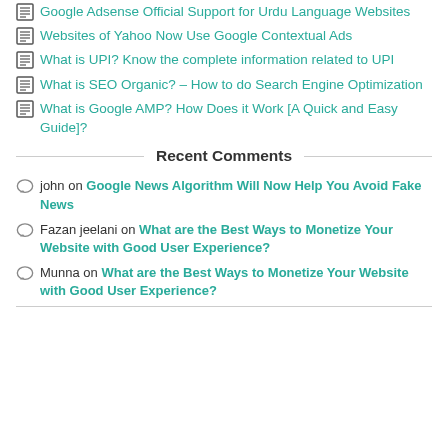Google Adsense Official Support for Urdu Language Websites
Websites of Yahoo Now Use Google Contextual Ads
What is UPI? Know the complete information related to UPI
What is SEO Organic? – How to do Search Engine Optimization
What is Google AMP? How Does it Work [A Quick and Easy Guide]?
Recent Comments
john on Google News Algorithm Will Now Help You Avoid Fake News
Fazan jeelani on What are the Best Ways to Monetize Your Website with Good User Experience?
Munna on What are the Best Ways to Monetize Your Website with Good User Experience?